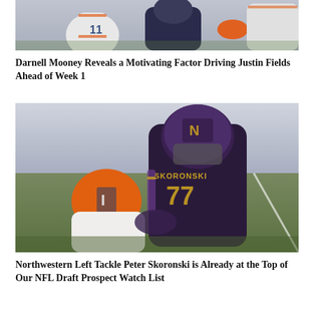[Figure (photo): Football players in action, one wearing white jersey with orange accents (#11), another in dark jersey]
Darnell Mooney Reveals a Motivating Factor Driving Justin Fields Ahead of Week 1
[Figure (photo): Northwestern offensive lineman #77 (Skoronski) in dark purple jersey blocking an Illinois player in orange helmet on football field]
Northwestern Left Tackle Peter Skoronski is Already at the Top of Our NFL Draft Prospect Watch List